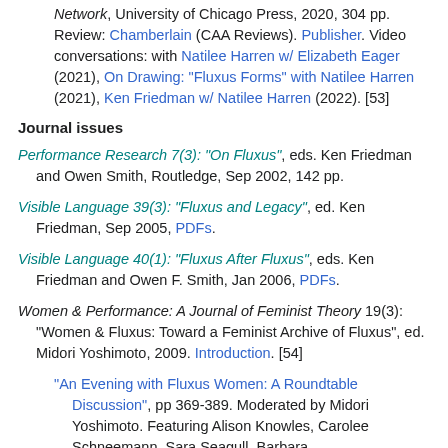Natilee Harren, Fluxus Forms: Scores, Multiples, and the Eternal Network, University of Chicago Press, 2020, 304 pp. Review: Chamberlain (CAA Reviews). Publisher. Video conversations: with Natilee Harren w/ Elizabeth Eager (2021), On Drawing: "Fluxus Forms" with Natilee Harren (2021), Ken Friedman w/ Natilee Harren (2022). [53]
Journal issues
Performance Research 7(3): "On Fluxus", eds. Ken Friedman and Owen Smith, Routledge, Sep 2002, 142 pp.
Visible Language 39(3): "Fluxus and Legacy", ed. Ken Friedman, Sep 2005, PDFs.
Visible Language 40(1): "Fluxus After Fluxus", eds. Ken Friedman and Owen F. Smith, Jan 2006, PDFs.
Women & Performance: A Journal of Feminist Theory 19(3): "Women & Fluxus: Toward a Feminist Archive of Fluxus", ed. Midori Yoshimoto, 2009. Introduction. [54]
"An Evening with Fluxus Women: A Roundtable Discussion", pp 369-389. Moderated by Midori Yoshimoto. Featuring Alison Knowles, Carolee Schneemann, Sara Seagull, Barbara